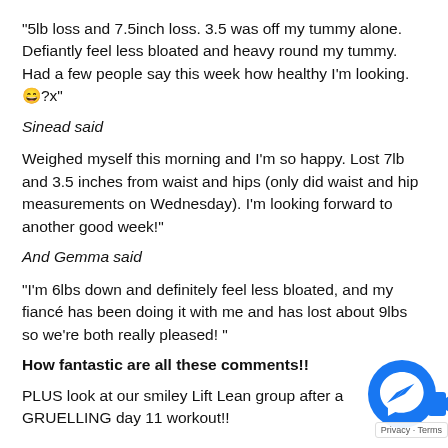“5lb loss and 7.5inch loss. 3.5 was off my tummy alone. Defiantly feel less bloated and heavy round my tummy. Had a few people say this week how healthy I’m looking. 😄?x”
Sinead said
Weighed myself this morning and I’m so happy. Lost 7lb and 3.5 inches from waist and hips (only did waist and hip measurements on Wednesday). I’m looking forward to another good week!”
And Gemma said
“I’m 6lbs down and definitely feel less bloated, and my fiancé has been doing it with me and has lost about 9lbs so we’re both really pleased! ”
How fantastic are all these comments!!
PLUS look at our smiley Lift Lean group after a GRUELLING day 11 workout!!
[Figure (logo): Facebook Messenger icon (blue circle with lightning bolt chat symbol)]
Privacy · Terms